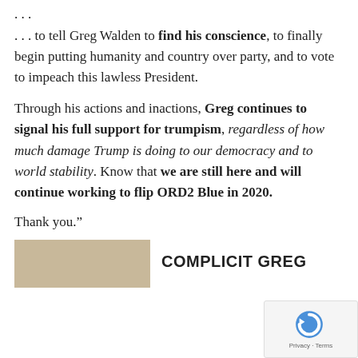. . .
. . . to tell Greg Walden to find his conscience, to finally begin putting humanity and country over party, and to vote to impeach this lawless President.
Through his actions and inactions, Greg continues to signal his full support for trumpism, regardless of how much damage Trump is doing to our democracy and to world stability. Know that we are still here and will continue working to flip ORD2 Blue in 2020.
Thank you.”
[Figure (photo): Photo of two people]
COMPLICIT GREG